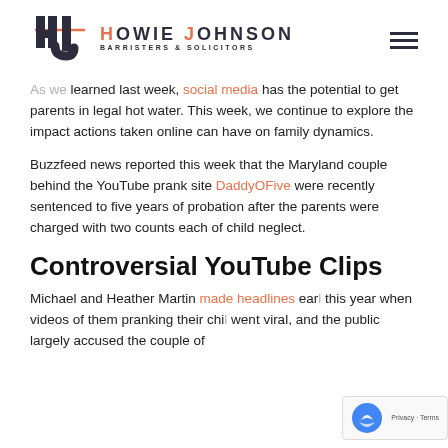Howie Johnson Barristers & Solicitors
As we learned last week, social media has the potential to get parents in legal hot water. This week, we continue to explore the impact actions taken online can have on family dynamics.
Buzzfeed news reported this week that the Maryland couple behind the YouTube prank site DaddyOFive were recently sentenced to five years of probation after the parents were charged with two counts each of child neglect.
Controversial YouTube Clips
Michael and Heather Martin made headlines earlier this year when videos of them pranking their children went viral, and the public largely accused the couple of